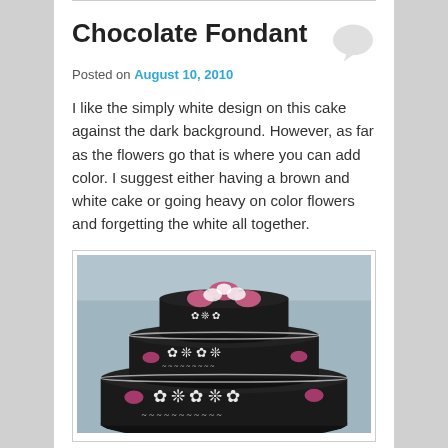Chocolate Fondant
Posted on August 10, 2010
I like the simply white design on this cake against the dark background. However, as far as the flowers go that is where you can add color. I suggest either having a brown and white cake or going heavy on color flowers and forgetting the white all together.
[Figure (photo): Three-tiered chocolate fondant cake decorated with white fondant floral patterns and pink/magenta flowers on a light blue-gray background.]